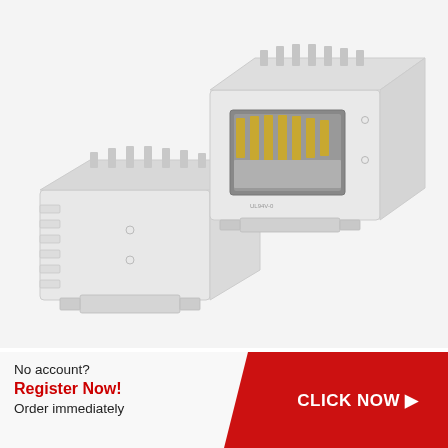[Figure (photo): Large product photo of a white RJ45 keystone network jack/connector module shown from an angle, displaying the punch-down back and the front port with gold contacts visible. Two components of the connector are shown side by side.]
[Figure (photo): Small thumbnail image of the same white RJ45 keystone jack connector, shown as a mini preview in a bordered box at the bottom-left.]
No account? Register Now! Order immediately
CLICK NOW ▶